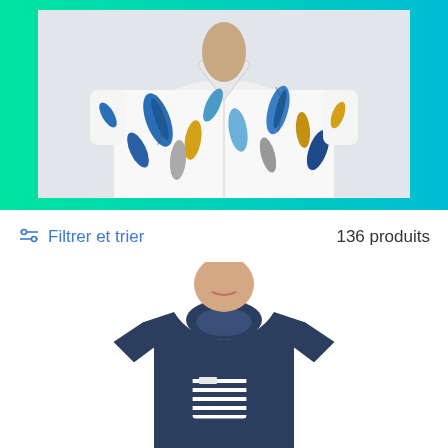[Figure (photo): Hero banner with teal/green gradient background and a man wearing a white Hawaiian shirt with colorful leaf/feather print pattern]
⊶  Filtrer et trier
136 produits
[Figure (photo): Man wearing a navy blue t-shirt with a white and navy striped chest pocket, white background, product listing photo]